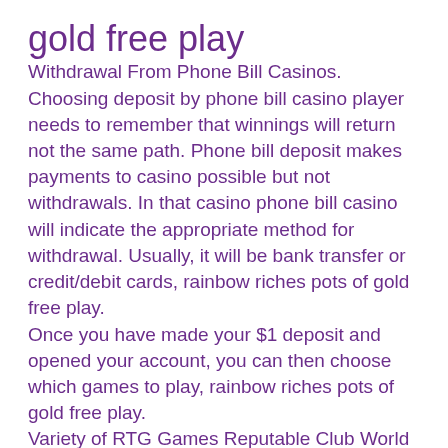gold free play
Withdrawal From Phone Bill Casinos. Choosing deposit by phone bill casino player needs to remember that winnings will return not the same path. Phone bill deposit makes payments to casino possible but not withdrawals. In that casino phone bill casino will indicate the appropriate method for withdrawal. Usually, it will be bank transfer or credit/debit cards, rainbow riches pots of gold free play.
Once you have made your $1 deposit and opened your account, you can then choose which games to play, rainbow riches pots of gold free play.
Variety of RTG Games Reputable Club World Casinos group The great theme of the website SSL encryption regularly audited by TST. Strong parent company Accepts US Players Ignition Rewards